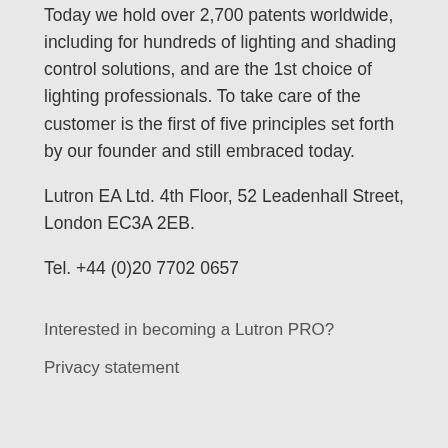Today we hold over 2,700 patents worldwide, including for hundreds of lighting and shading control solutions, and are the 1st choice of lighting professionals. To take care of the customer is the first of five principles set forth by our founder and still embraced today.
Lutron EA Ltd. 4th Floor, 52 Leadenhall Street, London EC3A 2EB.
Tel. +44 (0)20 7702 0657
Interested in becoming a Lutron PRO?
Privacy statement